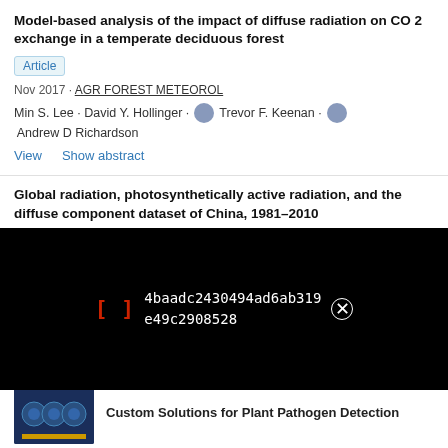Model-based analysis of the impact of diffuse radiation on CO 2 exchange in a temperate deciduous forest
Article
Nov 2017 · AGR FOREST METEOROL
Min S. Lee · David Y. Hollinger · Trevor F. Keenan · Andrew D Richardson
View   Show abstract
Global radiation, photosynthetically active radiation, and the diffuse component dataset of China, 1981–2010
[Figure (screenshot): Black overlay bar with red bracket icon '[]' and white hash text '4baadc2430494ad6ab319e49c2908528' with close button]
[Figure (photo): Small thumbnail showing a dark blue scientific book cover with circular icons]
Custom Solutions for Plant Pathogen Detection